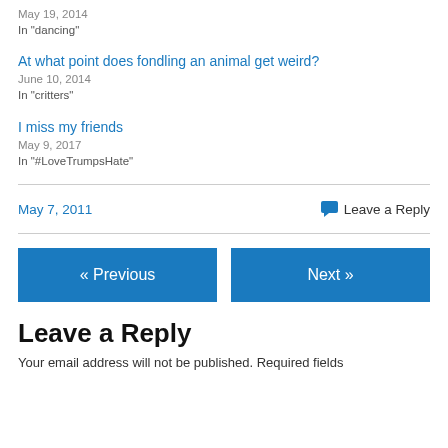May 19, 2014
In "dancing"
At what point does fondling an animal get weird?
June 10, 2014
In "critters"
I miss my friends
May 9, 2017
In "#LoveTrumpsHate"
May 7, 2011   Leave a Reply
« Previous   Next »
Leave a Reply
Your email address will not be published. Required fields